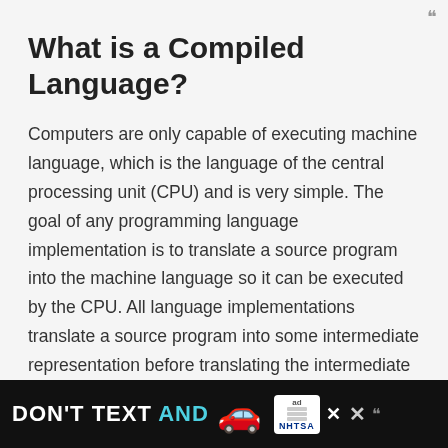What is a Compiled Language?
Computers are only capable of executing machine language, which is the language of the central processing unit (CPU) and is very simple. The goal of any programming language implementation is to translate a source program into the machine language so it can be executed by the CPU. All language implementations translate a source program into some intermediate representation before translating the intermediate representation to machine language. The most direct method of translating a program to machine language is called co...
[Figure (other): Advertisement banner: DON'T TEXT AND [car emoji] ad NHTSA with close buttons]